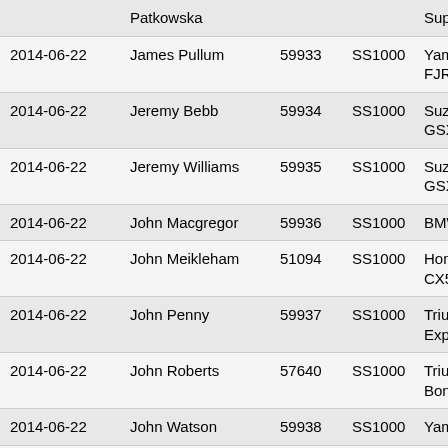| Date | Name | ID | Class | Motorcycle |
| --- | --- | --- | --- | --- |
|  | Patkowska |  |  | Super Tene… |
| 2014-06-22 | James Pullum | 59933 | SS1000 | Yamaha FJR1300 |
| 2014-06-22 | Jeremy Bebb | 59934 | SS1000 | Suzuki GSX1400 |
| 2014-06-22 | Jeremy Williams | 59935 | SS1000 | Suzuki GSXR750 |
| 2014-06-22 | John Macgregor | 59936 | SS1000 | BMW R120 RT |
| 2014-06-22 | John Meikleham | 51094 | SS1000 | Honda CX500CB |
| 2014-06-22 | John Penny | 59937 | SS1000 | Triumph Ti… Explorer |
| 2014-06-22 | John Roberts | 57640 | SS1000 | Triumph Bonneville |
| 2014-06-22 | John Watson | 59938 | SS1000 | Yamaha XJ900 f |
| 2014-06-22 | Jonathan Amies | 53395 | SS1000 | BMW R115 GS |
| 2014-06-22 | Jonathan Fanthorpe | 51102 | SS1000 | Harley-Davidson FLHTC Elect… |